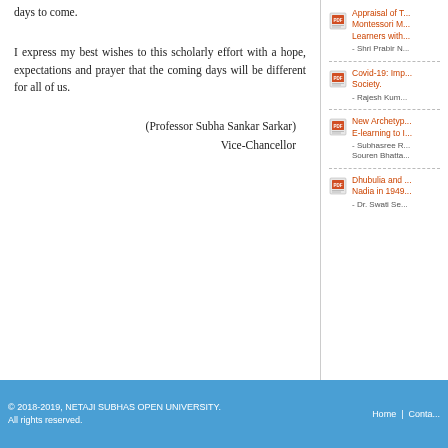days to come.
I express my best wishes to this scholarly effort with a hope, expectations and prayer that the coming days will be different for all of us.
(Professor Subha Sankar Sarkar)
Vice-Chancellor
Appraisal of T... Montessori M... Learners with... - Shri Prabir N...
Covid-19: Imp... Society. - Rajesh Kum...
New Archetyp... E-learning to I... - Subhasree R... Souren Bhatta...
Dhubulia and ... Nadia in 1949... - Dr. Swati Se...
© 2018-2019, NETAJI SUBHAS OPEN UNIVERSITY. All rights reserved.
Home | Conta...